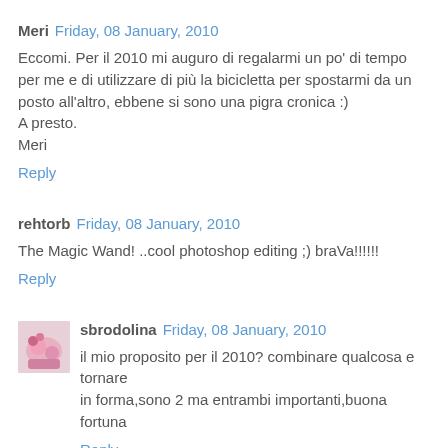Meri  Friday, 08 January, 2010
Eccomi. Per il 2010 mi auguro di regalarmi un po' di tempo per me e di utilizzare di più la bicicletta per spostarmi da un posto all'altro, ebbene si sono una pigra cronica :)
A presto.
Meri
Reply
rehtorb  Friday, 08 January, 2010
The Magic Wand! ..cool photoshop editing ;) braVa!!!!!!
Reply
sbrodolina  Friday, 08 January, 2010
il mio proposito per il 2010? combinare qualcosa e tornare in forma,sono 2 ma entrambi importanti,buona fortuna
Reply